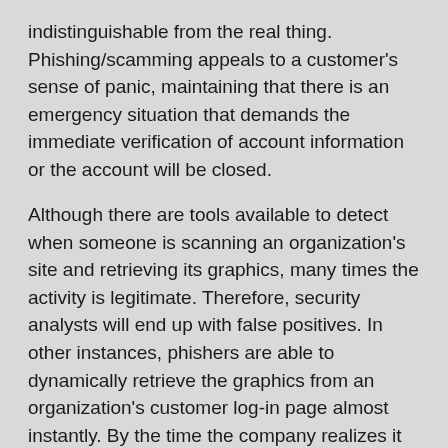indistinguishable from the real thing. Phishing/scamming appeals to a customer's sense of panic, maintaining that there is an emergency situation that demands the immediate verification of account information or the account will be closed.
Although there are tools available to detect when someone is scanning an organization's site and retrieving its graphics, many times the activity is legitimate. Therefore, security analysts will end up with false positives. In other instances, phishers are able to dynamically retrieve the graphics from an organization's customer log-in page almost instantly. By the time the company realizes it is being scammed, a bogus site has already been launched.
Network security companies also are beginning to see phishers use a combination of phishing and hacking to launch scams against their clients. Thus, if one phishing site is taken down, another automatically pops up. In one